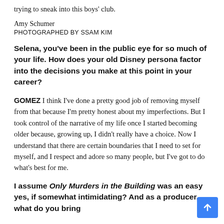trying to sneak into this boys' club.
Amy Schumer
PHOTOGRAPHED BY SSAM KIM
Selena, you've been in the public eye for so much of your life. How does your old Disney persona factor into the decisions you make at this point in your career?
GOMEZ I think I've done a pretty good job of removing myself from that because I'm pretty honest about my imperfections. But I took control of the narrative of my life once I started becoming older because, growing up, I didn't really have a choice. Now I understand that there are certain boundaries that I need to set for myself, and I respect and adore so many people, but I've got to do what's best for me.
I assume Only Murders in the Building was an easy yes, if somewhat intimidating? And as a producer, what do you bring